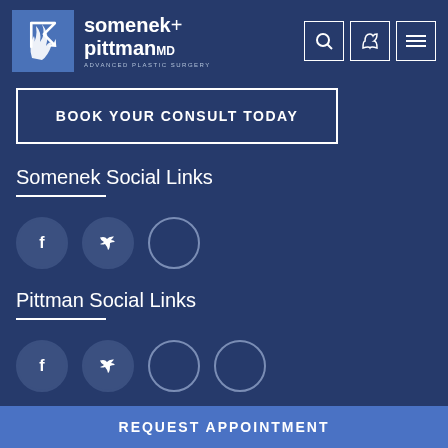[Figure (logo): Somenek + Pittman MD Advanced Plastic Surgery logo with blue square icon]
BOOK YOUR CONSULT TODAY
Somenek Social Links
[Figure (infographic): Social media icons: Facebook, Twitter, and one empty circle]
Pittman Social Links
[Figure (infographic): Social media icons: Facebook, Twitter, and two empty circles]
LOCATIONS
REQUEST APPOINTMENT